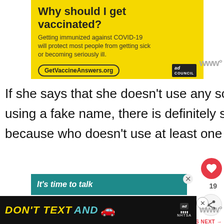[Figure (screenshot): Yellow advertisement banner: 'Why should I get vaccinated? Getting immunized against COVID-19 will protect most people from getting sick or becoming seriously ill. GetVaccineAnswers.org' with Ad Council logo]
If she says that she doesn't use any social media or she has an account using a fake name, there is definitely something suspicious about it because who doesn't use at least one social media platform today.
[Figure (screenshot): Teal advertisement: 'It's time to talk']
[Figure (screenshot): Black NHTSA advertisement: 'DON'T TEXT AND' with red car emoji and Ad Council/NHTSA logo]